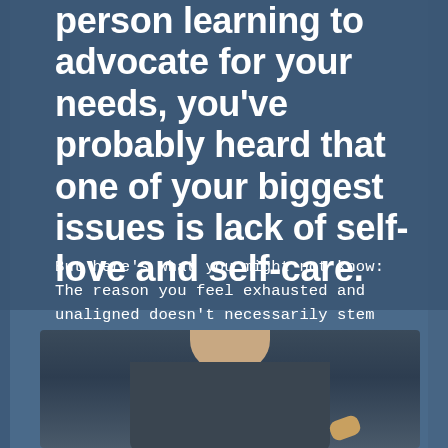person learning to advocate for your needs, you've probably heard that one of your biggest issues is lack of self-love and self-care.
But here's what you might not know: The reason you feel exhausted and unaligned doesn't necessarily stem from lack of self-love—it stems from a lack of self-trust and self-knowledge.
[Figure (photo): Partial photo of a person wearing a dark grey/navy shirt, showing their neck/chin area and a hand holding something with a yellow/gold fingernail, against a soft blurred background.]